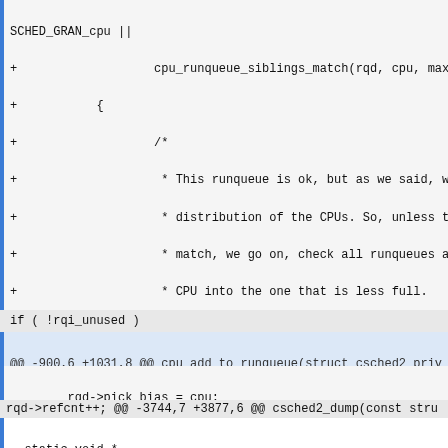SCHED_GRAN_cpu ||
+ cpu_runqueue_siblings_match(rqd, cpu, max
+ {
+ /*
+ * This runqueue is ok, but as we said, we
+ * distribution of the CPUs. So, unless thi
+ * match, we go on, check all runqueues and
+ * CPU into the one that is less full.
+ */
+ if ( !rqd_valid || rqd->refcnt < rqd_valid-
+ rqd_valid = rqd;
+ }
 }
if ( !rqi_unused )
@@ -900,6 +1031,8 @@ cpu_add_to_runqueue(struct csched2_priv
int cpu)
        rqd->pick_bias = cpu;
        rqd->id = rqi;
    }
+ else
+         rqd = rqd_valid;
rqd->refcnt++; @@ -3744,7 +3877,6 @@ csched2_dump(const stru
  static void *
  csched2_alloc_pdata(const struct scheduler *ops, int cpu)
  {